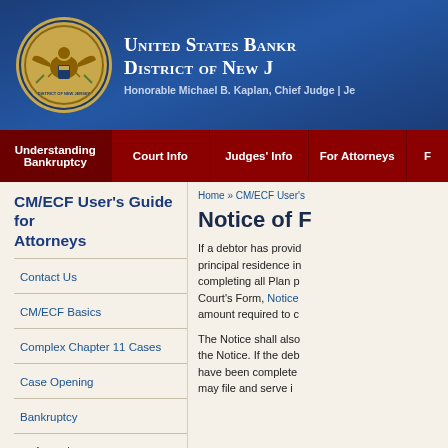[Figure (logo): United States Bankruptcy Court seal and header banner with court name and chief judge info]
United States Bankruptcy Court District of New Jersey | Honorable Michael B. Kaplan, Chief Judge
Understanding Bankruptcy
Court Info
Judges' Info
For Attorneys
CM/ECF User's Guide for Attorneys
Home » CM/ECF User's
Notice of F
Contact Us
CM/ECF Basics
Complex Chapter 11 Cases
Case Opening
Bankruptcy
Appeal
If a debtor has provided principal residence in completing all Plan p Court's Form, Notice amount required to c
The Notice shall also the Notice. If the deb have been complete may file and serve i